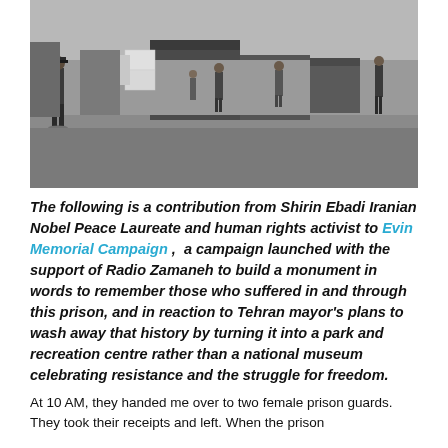[Figure (photo): Black and white photograph showing a prison yard or facility exterior. A guard in uniform walks on the left side. Several people are visible in the background near large containers or structures. The scene appears to be outdoors at a detention facility.]
The following is a contribution from Shirin Ebadi Iranian Nobel Peace Laureate and human rights activist to Evin Memorial Campaign , a campaign launched with the support of Radio Zamaneh to build a monument in words to remember those who suffered in and through this prison, and in reaction to Tehran mayor's plans to wash away that history by turning it into a park and recreation centre rather than a national museum celebrating resistance and the struggle for freedom.
At 10 AM, they handed me over to two female prison guards. They took their receipts and left. When the prison